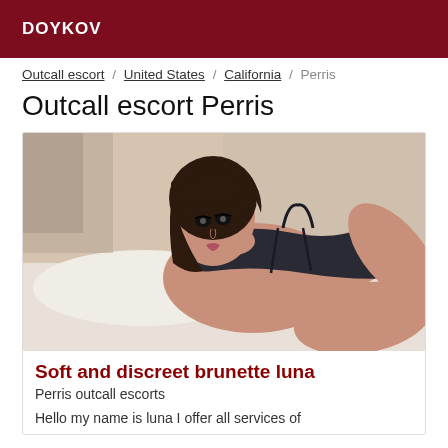DOYKOV
Outcall escort / United States / California / Perris
Outcall escort Perris
[Figure (photo): A brunette woman lying on a bed wearing dark clothing, photograph used as a listing image for escort advertisement]
Soft and discreet brunette luna
Perris outcall escorts
Hello my name is luna I offer all services of